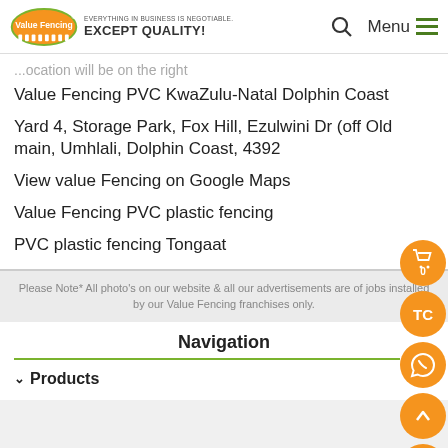Value Fencing® — EVERYTHING IN BUSINESS IS NEGOTIABLE. EXCEPT QUALITY! [search] Menu
Value Fencing PVC KwaZulu-Natal Dolphin Coast
Yard 4, Storage Park, Fox Hill, Ezulwini Dr (off Old main, Umhlali, Dolphin Coast, 4392
View value Fencing on Google Maps
Value Fencing PVC plastic fencing
PVC plastic fencing Tongaat
Please Note* All photo's on our website & all our advertisements are of jobs installed by our Value Fencing franchises only.
Navigation
Products